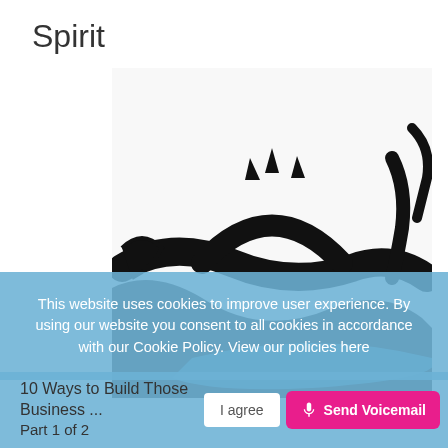Spirit
[Figure (illustration): Black ink brush-stroke illustration on white background, appearing to show abstract animal or calligraphic forms with heavy black strokes.]
This website uses cookies to improve user experience. By using our website you consent to all cookies in accordance with our Cookie Policy. View our policies here
10 Ways to Build Those Business ...
Part 1 of 2